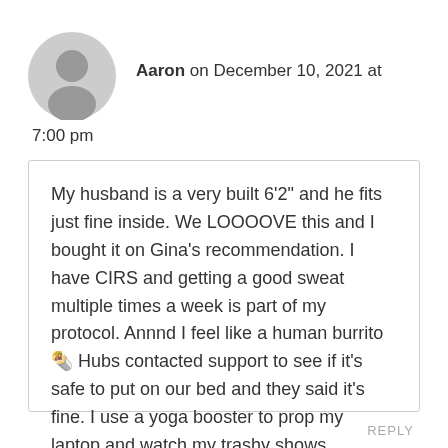Aaron on December 10, 2021 at 7:00 pm
My husband is a very built 6’2” and he fits just fine inside. We LOOOOVE this and I bought it on Gina’s recommendation. I have CIRS and getting a good sweat multiple times a week is part of my protocol. Annnd I feel like a human burrito 🌯 Hubs contacted support to see if it’s safe to put on our bed and they said it’s fine. I use a yoga booster to prop my laptop and watch my trashy shows.